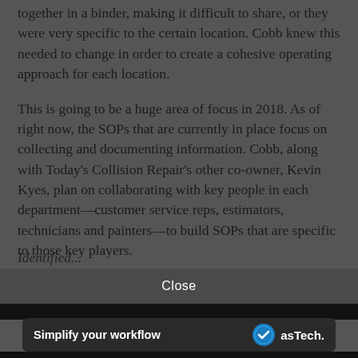together in a binder, making it difficult to share, or they were very specific to the certain location. Cobb knew this needed to change in order to create a cohesive operating approach for each location.
This is going to be a huge area of focus in 2018. As of right now, the SOPs that are currently in place focus on collecting and documenting information. Cobb, along with Today's Collision Repair's other co-owner, Kevin Kyes, plan on collaborating with key people in each department—customer service reps, estimators, technicians and painters—to build SOPs that are specific to those key players.
Identified...
Close
[Figure (other): Advertisement banner for asTech with text 'Simplify your workflow' and asTech logo with blue circular checkmark icon]